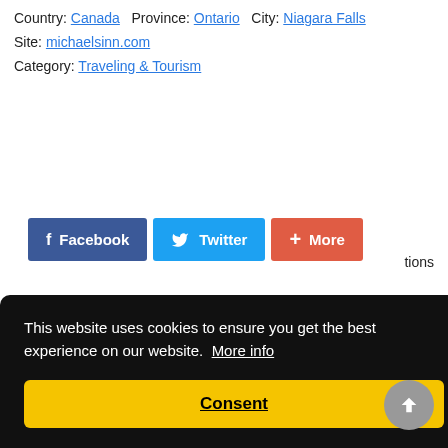Country: Canada   Province: Ontario   City: Niagara Falls
Site: michaelsinn.com
Category: Traveling & Tourism
[Figure (screenshot): Social sharing buttons: Facebook (blue), Twitter (light blue), More (orange-red)]
[Figure (infographic): Cookie consent overlay with text: This website uses cookies to ensure you get the best experience on our website. More info. Yellow Consent button. Back to top circular button.]
Ripoff dishonestuncaring and completely insane